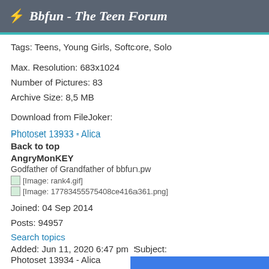⚡ Bbfun - The Teen Forum
Tags: Teens, Young Girls, Softcore, Solo
Max. Resolution: 683x1024
Number of Pictures: 83
Archive Size: 8,5 MB
Download from FileJoker:
Photoset 13933 - Alica
Back to top
AngryMonKEY
Godfather of Grandfather of bbfun.pw
[Figure (other): Broken image placeholder: [Image: rank4.gif]]
[Figure (other): Broken image placeholder: [Image: 17783455575408ce416a361.png]]
Joined: 04 Sep 2014
Posts: 94957
Search topics
Added: Jun 11, 2020 6:47 pm  Subject:
Photoset 13934 - Alica